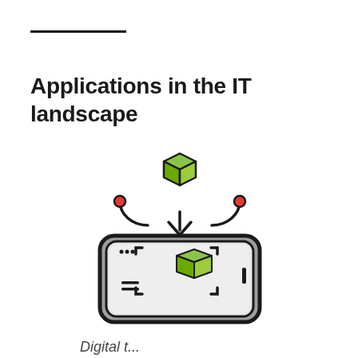Applications in the IT landscape
[Figure (illustration): Icon illustration of a 3D green cube floating above a smartphone/tablet device, with circuit-like arms extending left and right with red dots at the ends, and a downward-pointing arrow below the cube directing it into the device screen which shows a smaller 3D green cube centered inside a dashed scanning frame, with menu lines in the lower left.]
Digital t...